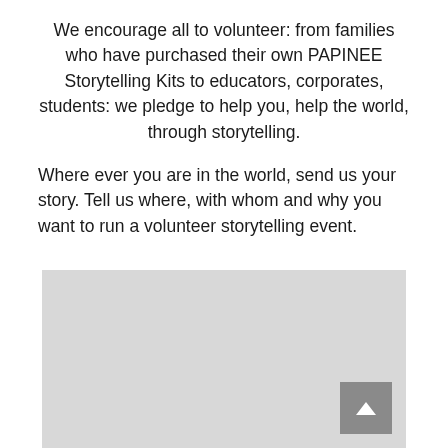We encourage all to volunteer: from families who have purchased their own PAPINEE Storytelling Kits to educators, corporates, students: we pledge to help you, help the world, through storytelling.
Where ever you are in the world, send us your story. Tell us where, with whom and why you want to run a volunteer storytelling event.
[Figure (map): A light grey map placeholder with a darker grey scroll-to-top button in the bottom right corner containing a white upward arrow.]